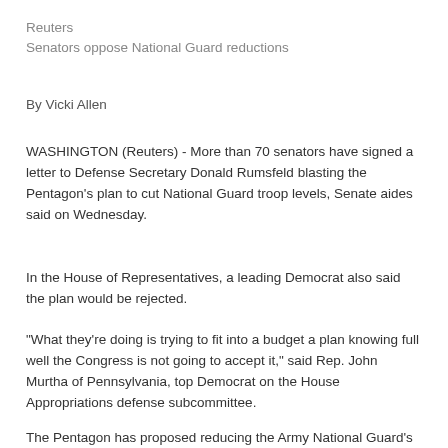Reuters
Senators oppose National Guard reductions
By Vicki Allen
WASHINGTON (Reuters) - More than 70 senators have signed a letter to Defense Secretary Donald Rumsfeld blasting the Pentagon's plan to cut National Guard troop levels, Senate aides said on Wednesday.
In the House of Representatives, a leading Democrat also said the plan would be rejected.
"What they're doing is trying to fit into a budget a plan knowing full well the Congress is not going to accept it," said Rep. John Murtha of Pennsylvania, top Democrat on the House Appropriations defense subcommittee.
The Pentagon has proposed reducing the Army National Guard's total troop level authorized by Congress from 350,000 to 333,000 as part of a broader Army restructuring